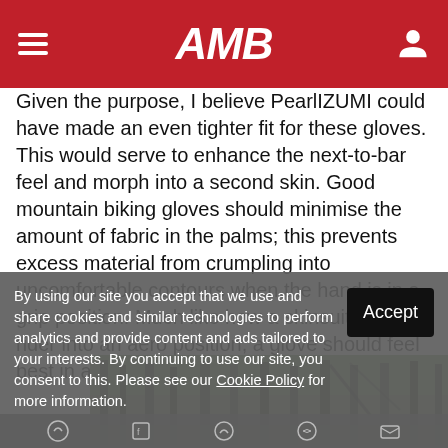AMB
Given the purpose, I believe PearlIZUMI could have made an even tighter fit for these gloves. This would serve to enhance the next-to-bar feel and morph into a second skin. Good mountain biking gloves should minimise the amount of fabric in the palms; this prevents excess material from crumpling into uncomfortable contours when the hand is in a grip position. Much like how a skinsuit forces a rider into an aero position, a glove should feel best in a gripping position.
[Figure (photo): Outdoor forest/trail scene with trees, partially visible, showing a mountain biker or similar outdoor activity]
By using our site you accept that we use and share cookies and similar technologies to perform analytics and provide content and ads tailored to your interests. By continuing to use our site, you consent to this. Please see our Cookie Policy for more information.